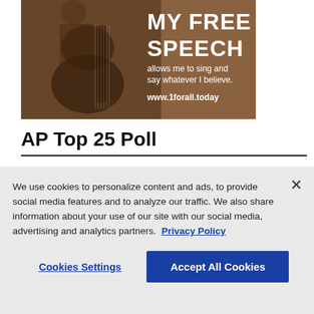[Figure (illustration): Advertisement banner with sepia-toned guitarist photo. Text reads: MY FREE SPEECH allows me to sing and say whatever I believe. www.1forall.today]
AP Top 25 Poll
Poll Release: Aug 15
We use cookies to personalize content and ads, to provide social media features and to analyze our traffic. We also share information about your use of our site with our social media, advertising and analytics partners. Privacy Policy
Cookies Settings | Accept All Cookies